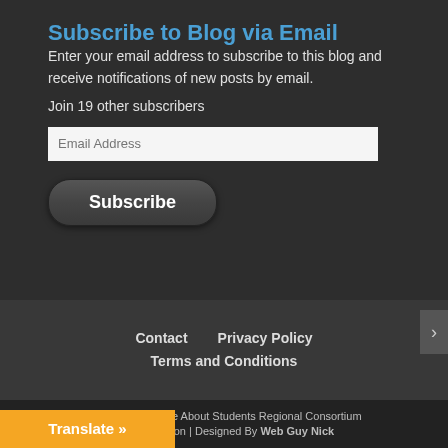Subscribe to Blog via Email
Enter your email address to subscribe to this blog and receive notifications of new posts by email.
Join 19 other subscribers
Email Address
Subscribe
Contact   Privacy Policy   Terms and Conditions
(C) 2020 Riverside About Students Regional Consortium | ucation | Designed By Web Guy Nick
Translate »